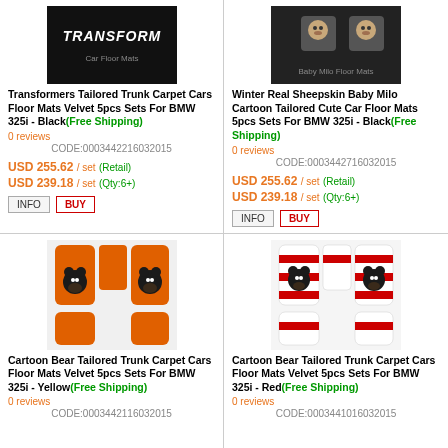[Figure (photo): Transformers car floor mat set, black]
Transformers Tailored Trunk Carpet Cars Floor Mats Velvet 5pcs Sets For BMW 325i - Black(Free Shipping)
0 reviews
CODE:0003442216032015
USD 255.62 / set (Retail)
USD 239.18 / set (Qty:6+)
[Figure (photo): Winter Real Sheepskin Baby Milo Cartoon car floor mat set, black]
Winter Real Sheepskin Baby Milo Cartoon Tailored Cute Car Floor Mats 5pcs Sets For BMW 325i - Black(Free Shipping)
0 reviews
CODE:0003442716032015
USD 255.62 / set (Retail)
USD 239.18 / set (Qty:6+)
[Figure (photo): Cartoon Bear car floor mat set, yellow/orange]
Cartoon Bear Tailored Trunk Carpet Cars Floor Mats Velvet 5pcs Sets For BMW 325i - Yellow(Free Shipping)
0 reviews
CODE:0003442116032015
[Figure (photo): Cartoon Bear car floor mat set, red]
Cartoon Bear Tailored Trunk Carpet Cars Floor Mats Velvet 5pcs Sets For BMW 325i - Red(Free Shipping)
0 reviews
CODE:0003441016032015